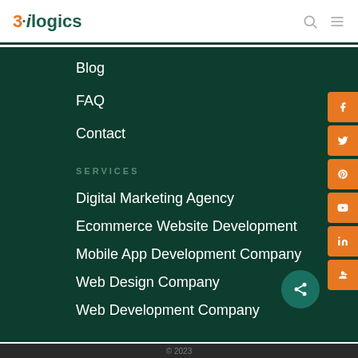3ilogics
Blog
FAQ
Contact
SERVICES
Digital Marketing Agency
Ecommerce Website Development
Mobile App Development Company
Web Design Company
Web Development Company
© 2023